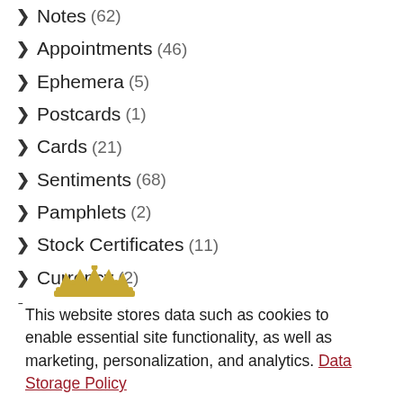Notes (62)
Appointments (46)
Ephemera (5)
Postcards (1)
Cards (21)
Sentiments (68)
Pamphlets (2)
Stock Certificates (11)
Currency (2)
Poems (6)
Other (141)
[Figure (logo): Small golden crown/logo emblem]
This website stores data such as cookies to enable essential site functionality, as well as marketing, personalization, and analytics. Data Storage Policy
Accept
Deny